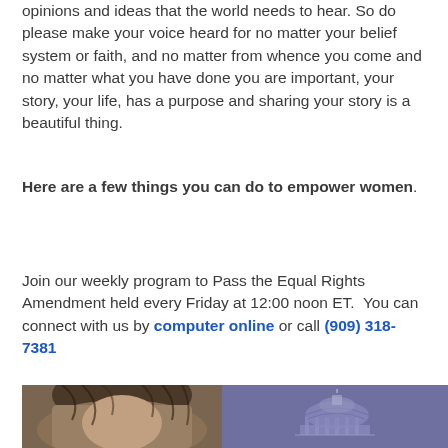opinions and ideas that the world needs to hear. So do please make your voice heard for no matter your belief system or faith, and no matter from whence you come and no matter what you have done you are important, your story, your life, has a purpose and sharing your story is a beautiful thing.
Here are a few things you can do to empower women.
Join our weekly program to Pass the Equal Rights Amendment held every Friday at 12:00 noon ET. You can connect with us by computer online or call (909) 318-7381
[Figure (photo): Split image: left half shows a person with gray hair (partial face), right half shows a purple/blue background with a capitol dome illustration]